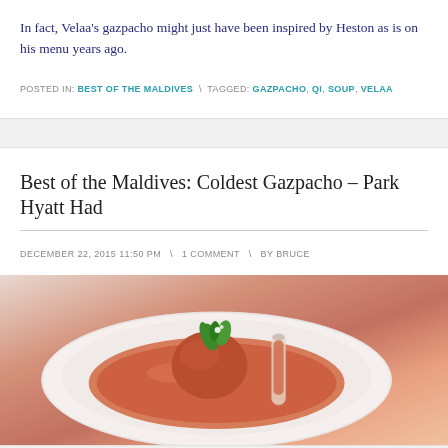In fact, Velaa's gazpacho might just have been inspired by Heston as is on his menu years ago.
POSTED IN: BEST OF THE MALDIVES \ TAGGED: GAZPACHO, QI, SOUP, VELAA
Best of the Maldives: Coldest Gazpacho – Park Hyatt Had
DECEMBER 22, 2015 11:50 PM \ 1 COMMENT \ BY BRUCE
[Figure (photo): A white plate with a tomato gazpacho soup and a scoop garnished with fresh herbs/basil, alongside a small glass tube with gazpacho.]